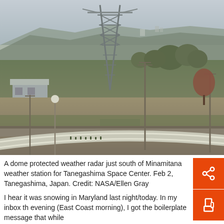[Figure (photo): Outdoor landscape photo showing a dome-protected weather radar installation just south of Minamitane, with a communications/observation tower in the background, trees, a curved road with guardrail, utility poles, and rolling hills in the distance under an overcast sky. Tanegashima, Japan.]
A dome protected weather radar just south of Minamitane, a weather station for Tanegashima Space Center. Feb 2, Tanegashima, Japan. Credit: NASA/Ellen Gray
I hear it was snowing in Maryland last night/today. In my inbox this evening (East Coast morning), I got the boilerplate message that while Goddard Space Flight Center is open...